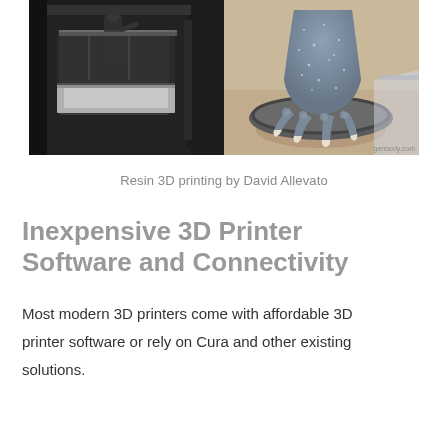[Figure (photo): Two side-by-side photos: left shows the interior of a large 3D printer with a person working near the build platform in a dark room; right shows a detailed resin 3D printed sculpture of a creature (dragon/monster) foot/claw on a round base, with sparkly blue-grey texture.]
Resin 3D printing by David Allevato
Inexpensive 3D Printer Software and Connectivity
Most modern 3D printers come with affordable 3D printer software or rely on Cura and other existing solutions.